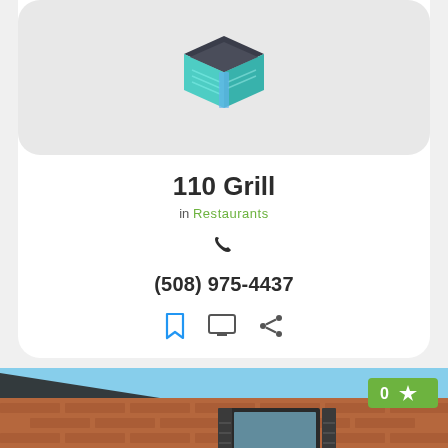[Figure (logo): 3D isometric book/app icon logo with green and teal tones on light gray background]
110 Grill
in Restaurants
(508) 975-4437
[Figure (infographic): Three action icons: bookmark, monitor/screen, and share]
[Figure (photo): Exterior photo of a brick building with windows and shutters, green rating badge showing 0 stars in top right corner]